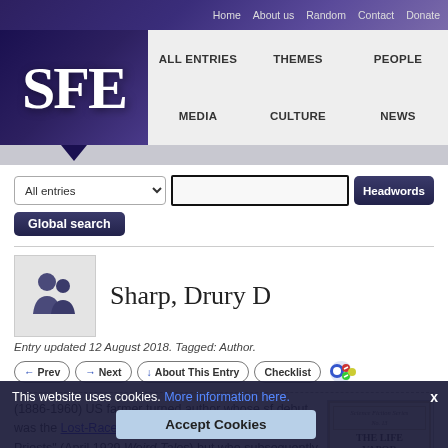Home | About us | Random | Contact | Donate
[Figure (logo): SFE logo with blue/purple starfield background]
ALL ENTRIES | THEMES | PEOPLE | MEDIA | CULTURE | NEWS
[Figure (screenshot): Search bar with All entries dropdown, text input, Headwords button, and Global search button]
Sharp, Drury D
Entry updated 12 August 2018. Tagged: Author.
← Prev | → Next | ↓ About This Entry | Checklist
(1886-1960) US farmer turned author whose sf debut was the Lost-Race story "The Goddess of the Painted Priests" (April 1929 Weird Tales) but who subsequently made his mark in the Gernsback SF Magazines where he showed an originality of ideas and an occasion...
This website uses cookies. More information here.
Accept Cookies